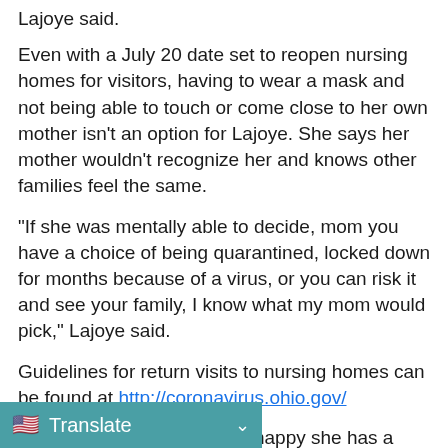Lajoye said.
Even with a July 20 date set to reopen nursing homes for visitors, having to wear a mask and not being able to touch or come close to her own mother isn't an option for Lajoye. She says her mother wouldn't recognize her and knows other families feel the same.
“If she was mentally able to decide, mom you have a choice of being quarantined, locked down for months because of a virus, or you can risk it and see your family, I know what my mom would pick,” Lajoye said.
Guidelines for return visits to nursing homes can be found at http://coronavirus.ohio.gov/
Lajoye said that while she’s happy she has a date to return, she worries that the governor will go back on other spike in COVID-19
[Figure (screenshot): Translate button bar with US flag icon and chevron, teal/green background]